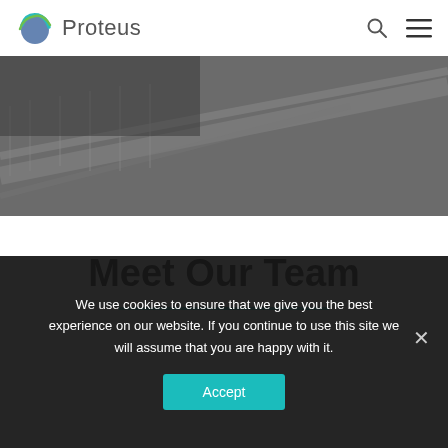[Figure (logo): Proteus logo: globe icon with teal and green lines, followed by text 'Proteus' in grey]
[Figure (photo): Dark grey diagonal engineering/bridge structure photo used as hero banner background]
Meet Our Team
We use cookies to ensure that we give you the best experience on our website. If you continue to use this site we will assume that you are happy with it.